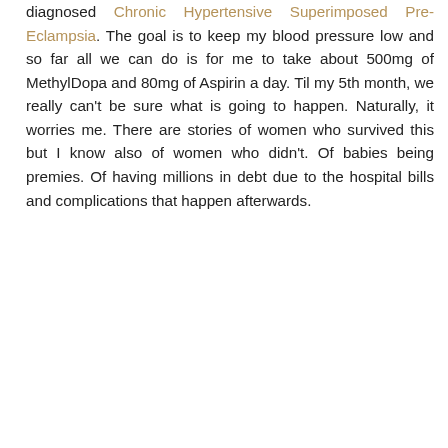diagnosed Chronic Hypertensive Superimposed Pre-Eclampsia. The goal is to keep my blood pressure low and so far all we can do is for me to take about 500mg of MethylDopa and 80mg of Aspirin a day. Til my 5th month, we really can't be sure what is going to happen. Naturally, it worries me. There are stories of women who survived this but I know also of women who didn't. Of babies being premies. Of having millions in debt due to the hospital bills and complications that happen afterwards.